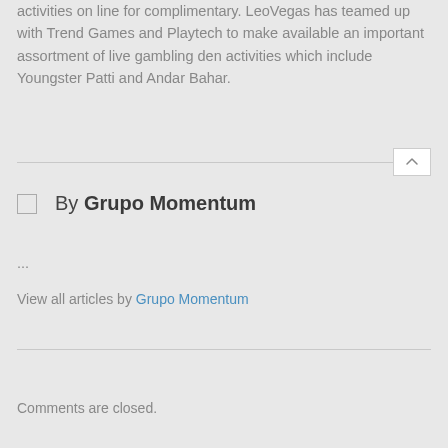activities on line for complimentary. LeoVegas has teamed up with Trend Games and Playtech to make available an important assortment of live gambling den activities which include Youngster Patti and Andar Bahar.
By Grupo Momentum
...
View all articles by Grupo Momentum
Comments are closed.